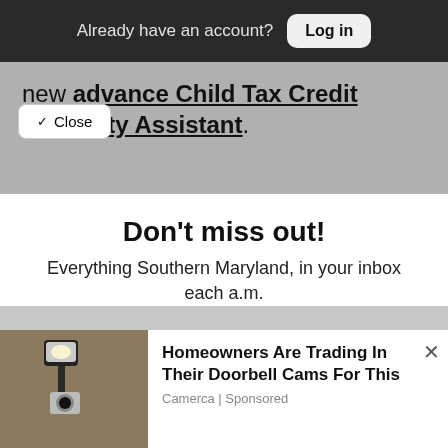Already have an account? Log in
new advance Child Tax Credit Eligibility Assistant.
Close
Don't miss out!
Everything Southern Maryland, in your inbox each a.m.
Free Newsletters 1
Daily Digest
A roundup of the latest news
Homeowners Are Trading In Their Doorbell Cams For This
Camerca | Sponsored